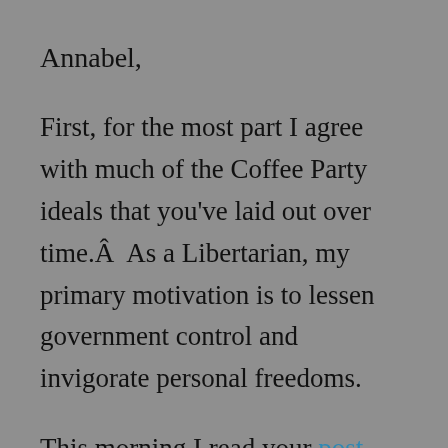Annabel,
First, for the most part I agree with much of the Coffee Party ideals that you've laid out over time.Â  As a Libertarian, my primary motivation is to lessen government control and invigorate personal freedoms.
This morning I read your post regarding your responses to pro-gun folk.Â  Unfortunately, I think you've responded to some of the more